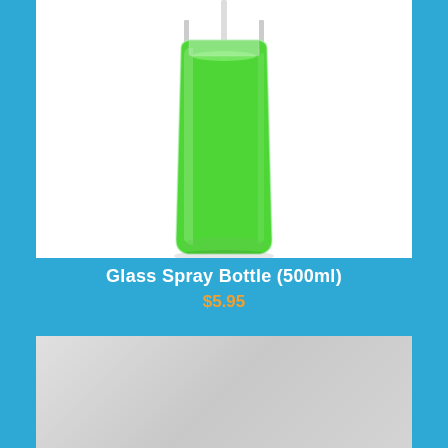[Figure (photo): A glass spray bottle filled with bright green liquid, photographed on a white background. The bottle has a cylindrical shape with a spray pump nozzle at the top.]
Glass Spray Bottle (500ml)
$5.95
[Figure (photo): Partially visible second product image showing a light gray/silver background, product not fully visible as it is cut off at the bottom of the page.]